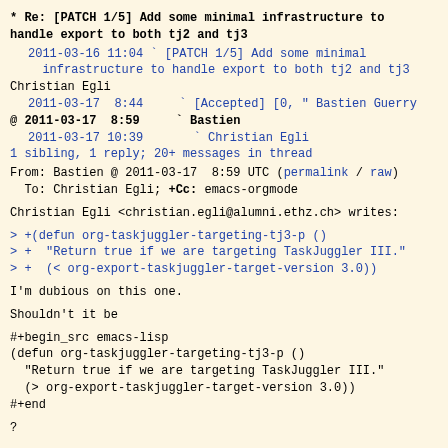* Re: [PATCH 1/5] Add some minimal infrastructure to handle export to both tj2 and tj3
2011-03-16 11:04 ` [PATCH 1/5] Add some minimal infrastructure to handle export to both tj2 and tj3
Christian Egli
2011-03-17 8:44 ` [Accepted] [0, " Bastien Guerry
@ 2011-03-17 8:59 ` Bastien
2011-03-17 10:39 ` Christian Egli
1 sibling, 1 reply; 20+ messages in thread
From: Bastien @ 2011-03-17 8:59 UTC (permalink / raw)
  To: Christian Egli; +Cc: emacs-orgmode
Christian Egli <christian.egli@alumni.ethz.ch> writes:
> +(defun org-taskjuggler-targeting-tj3-p ()
> +  "Return true if we are targeting TaskJuggler III."
> +  (< org-export-taskjuggler-target-version 3.0))
I'm dubious on this one.
Shouldn't it be
#+begin_src emacs-lisp
(defun org-taskjuggler-targeting-tj3-p ()
  "Return true if we are targeting TaskJuggler III."
  (> org-export-taskjuggler-target-version 3.0))
#+end
?